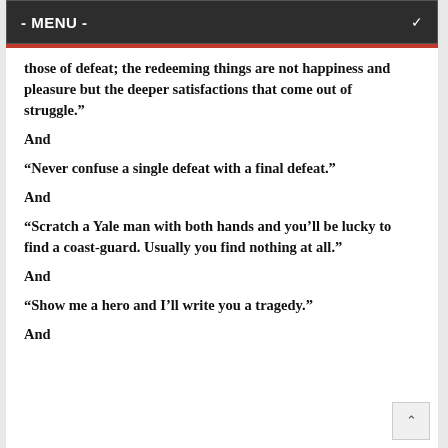- MENU -
those of defeat; the redeeming things are not happiness and pleasure but the deeper satisfactions that come out of struggle.”
And
“Never confuse a single defeat with a final defeat.”
And
“Scratch a Yale man with both hands and you’ll be lucky to find a coast-guard. Usually you find nothing at all.”
And
“Show me a hero and I’ll write you a tragedy.”
And